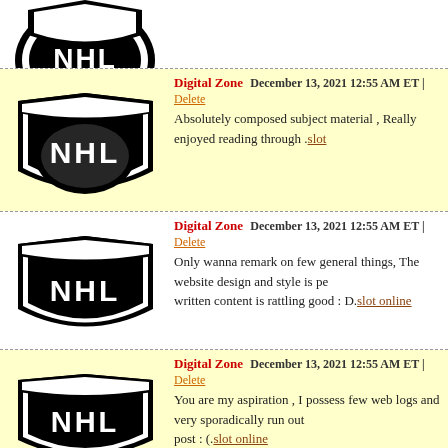[Figure (logo): NHL shield logo partially visible at top]
Digital Zone — December 13, 2021 12:55 AM ET | Delete
Absolutely composed subject material , Really enjoyed reading through .slot
Digital Zone — December 13, 2021 12:55 AM ET | Delete
Only wanna remark on few general things, The website design and style is pe... written content is rattling good : D.slot online
Digital Zone — December 13, 2021 12:55 AM ET | Delete
You are my aspiration , I possess few web logs and very sporadically run out... post : (.slot online
Digital Zone — December 13, 2021 12:55 AM ET | Delete
I dugg some of you post as I cerebrated they were very beneficial very usefu...